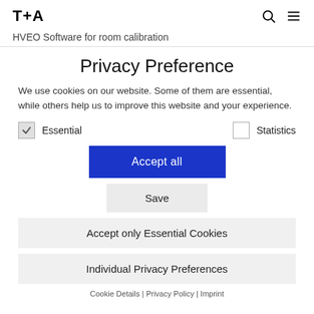T+A
HVEO Software for room calibration
Privacy Preference
We use cookies on our website. Some of them are essential, while others help us to improve this website and your experience.
Essential (checked)
Statistics (unchecked)
Accept all
Save
Accept only Essential Cookies
Individual Privacy Preferences
Cookie Details | Privacy Policy | Imprint